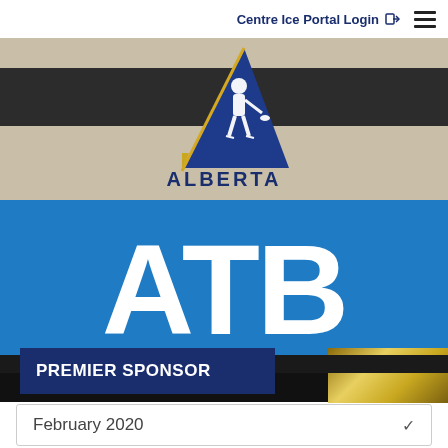Centre Ice Portal Login
[Figure (logo): Hockey Alberta logo — blue triangular shape with white hockey player silhouette, gold border accent, text ALBERTA below in dark blue]
[Figure (logo): ATB Financial logo — large white bold letters ATB on bright blue background]
PREMIER SPONSOR
HOME ICE FEATURE
February 2020